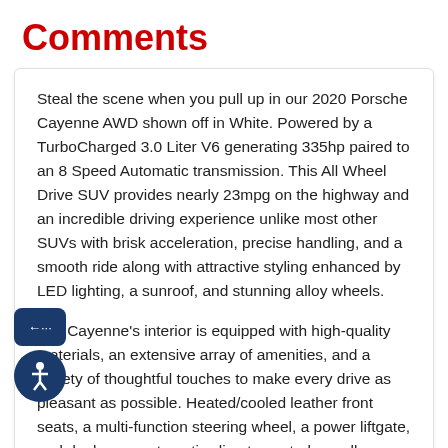Comments
Steal the scene when you pull up in our 2020 Porsche Cayenne AWD shown off in White. Powered by a TurboCharged 3.0 Liter V6 generating 335hp paired to an 8 Speed Automatic transmission. This All Wheel Drive SUV provides nearly 23mpg on the highway and an incredible driving experience unlike most other SUVs with brisk acceleration, precise handling, and a smooth ride along with attractive styling enhanced by LED lighting, a sunroof, and stunning alloy wheels.
Our Cayenne's interior is equipped with high-quality materials, an extensive array of amenities, and a variety of thoughtful touches to make every drive as pleasant as possible. Heated/cooled leather front seats, a multi-function steering wheel, a power liftgate, and dual-zone automatic climate control are all on hand to help keep you comfortable and in command every journey. Additionally, the full-color Porsche Communication Management infotainment system keeps you informed and entertained with navigation, Bluetooth, Apple CarPlay, an available Wi-Fi hotspot, USB/Aux inputs, and a